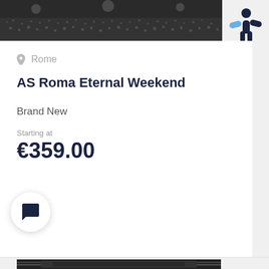[Figure (photo): Stadium crowd photo at top of card]
[Figure (logo): Blue stick-figure logo (person with outstretched arms) in top right corner]
Rome
AS Roma Eternal Weekend
Brand New
Starting at
€359.00
[Figure (photo): Partial stadium photo at bottom of page]